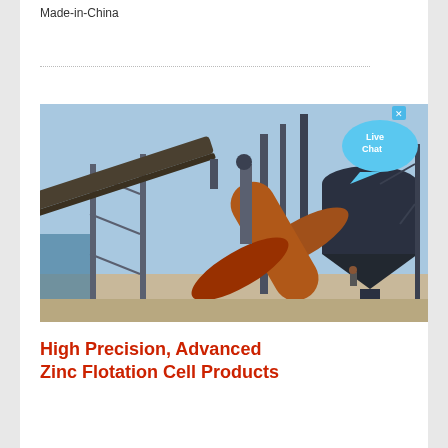Made-in-China
[Figure (photo): Industrial facility showing large rotary drum/kiln equipment, steel framework, conveyor belts, and large silo/hopper structures at a mining or mineral processing plant. A worker is visible near the base. A 'Live Chat' speech bubble overlay appears in the top-right corner of the image.]
High Precision, Advanced Zinc Flotation Cell Products